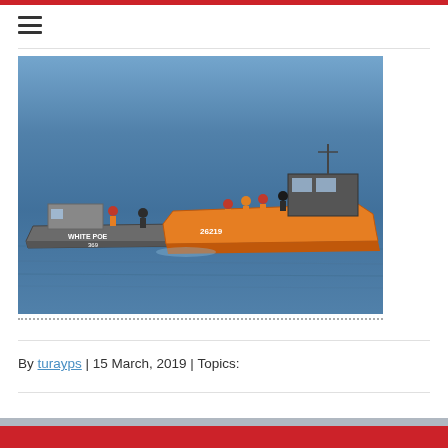[Figure (photo): Two boats on open water — a weathered fishing vessel on the left labeled 'WHITE POE 369' with people in orange life vests aboard, and a rigid inflatable orange Coast Guard or law enforcement boat on the right with personnel in orange life vests and dark clothing.]
By turayps | 15 March, 2019 | Topics: